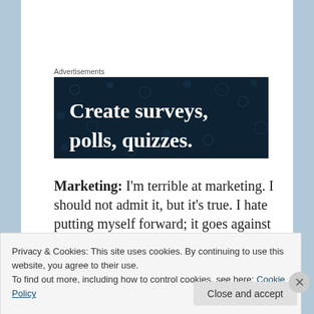Advertisements
[Figure (screenshot): Dark navy blue advertisement banner with white bold serif text reading 'Create surveys, polls, quizzes.' with decorative dot pattern background.]
Marketing: I'm terrible at marketing. I should not admit it, but it's true. I hate putting myself forward; it goes against everything that was drummed into me as a little girl in Catholic
Privacy & Cookies: This site uses cookies. By continuing to use this website, you agree to their use.
To find out more, including how to control cookies, see here: Cookie Policy
Close and accept